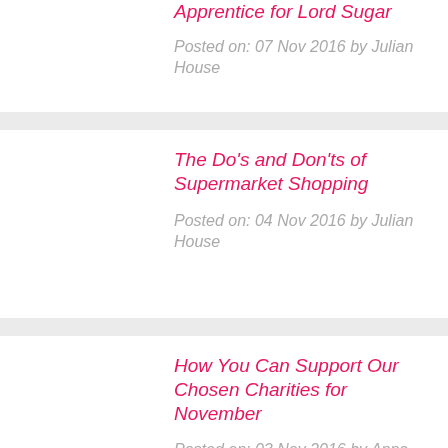Apprentice for Lord Sugar
Posted on: 07 Nov 2016 by Julian House
The Do's and Don'ts of Supermarket Shopping
Posted on: 04 Nov 2016 by Julian House
How You Can Support Our Chosen Charities for November
Posted on: 03 Nov 2016 by Anna Scott